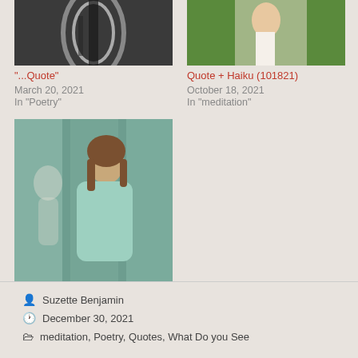[Figure (photo): Thumbnail of dark abstract image for '...Quote' post]
'...Quote"
March 20, 2021
In "Poetry"
[Figure (photo): Thumbnail of person outdoors holding flowers for 'Quote + Haiku (101821)' post]
Quote + Haiku (101821)
October 18, 2021
In "meditation"
[Figure (photo): Thumbnail of woman in teal outfit for 'Quote + Haiku' post]
Quote + Haiku
August 29, 2021
In "Haiku"
Suzette Benjamin
December 30, 2021
meditation, Poetry, Quotes, What Do you See